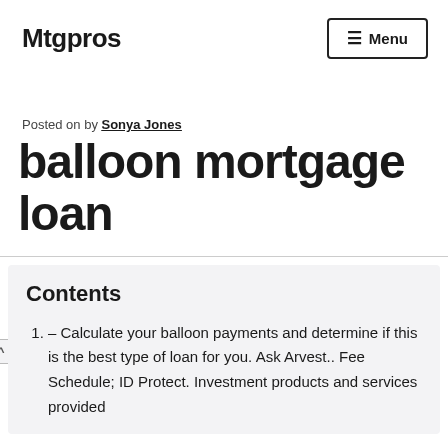Mtgpros
Posted on by Sonya Jones
balloon mortgage loan
Contents
– Calculate your balloon payments and determine if this is the best type of loan for you. Ask Arvest.. Fee Schedule; ID Protect. Investment products and services provided